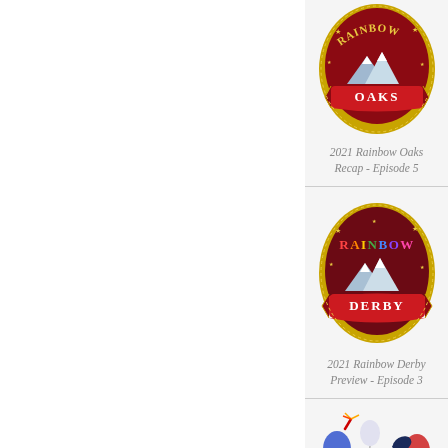[Figure (logo): Rainbow Oaks logo - dark red/maroon emblem with mountain and OAKS banner, gold border]
2021 Rainbow Oaks Recap - Episode 5
[Figure (logo): Rainbow Derby logo - dark red/maroon emblem with RAINBOW text in rainbow colors and DERBY banner, gold border]
2021 Rainbow Derby Preview - Episode 3
[Figure (logo): Delta Downs Firecracker Futurity logo - horse silhouette with fireworks, red white blue patriotic design]